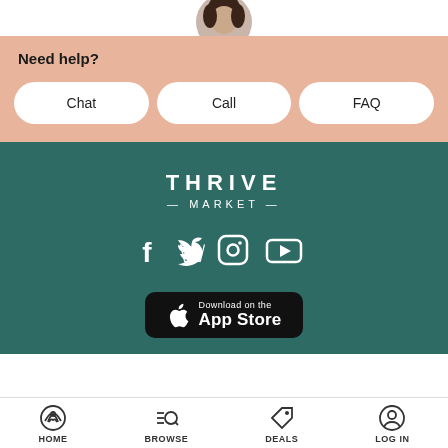[Figure (photo): Partial view of a circular avatar photo showing a person with dark hair, cropped at top]
Need help?
Chat
Call
FAQ
[Figure (logo): Thrive Market logo in white text on teal/dark green background with arched THRIVE text and — MARKET — below]
[Figure (infographic): Social media icons: Facebook, Twitter, Instagram, YouTube in white on teal background]
[Figure (screenshot): Download on the App Store button with Apple logo]
HOME   BROWSE   DEALS   LOG IN